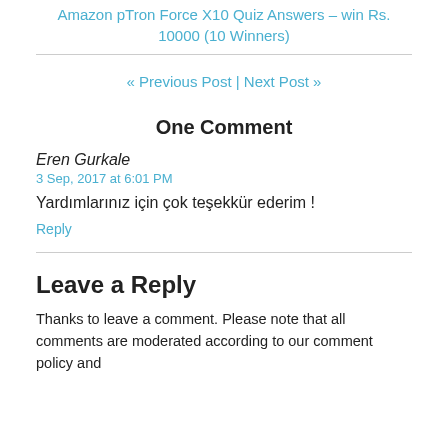Amazon pTron Force X10 Quiz Answers – win Rs. 10000 (10 Winners)
« Previous Post | Next Post »
One Comment
Eren Gurkale
3 Sep, 2017 at 6:01 PM
Yardımlarınız için çok teşekkür ederim !
Reply
Leave a Reply
Thanks to leave a comment. Please note that all comments are moderated according to our comment policy and